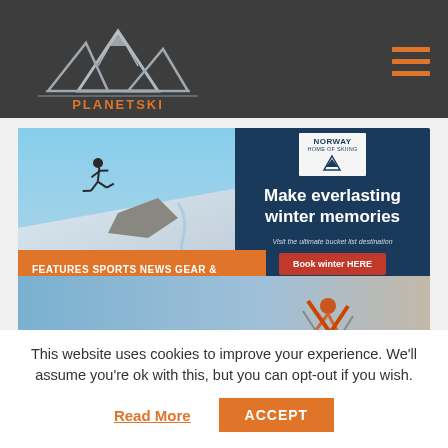[Figure (logo): PlanetSki logo with mountain peaks graphic in silver/grey and orange PLANETSKI text on dark grey header background]
[Figure (screenshot): Website banner showing a skier jumping with Norway Home of Skiing badge and text 'Make everlasting winter memories' with 'Visit the ultimate bucket list destination' and 'Book winter HERE' button, plus orange bar with 'FEATURES, SPORTS NEWS, GEAR & EQUIPMENT']
This website uses cookies to improve your experience. We'll assume you're ok with this, but you can opt-out if you wish.
Read More
ACCEPT